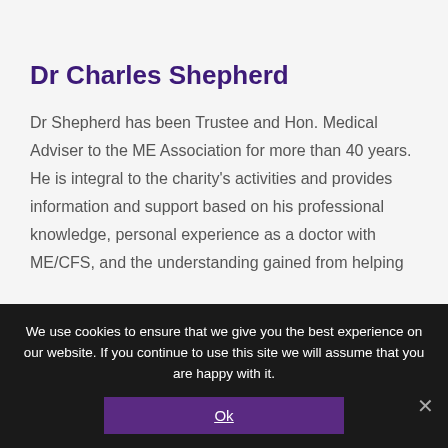Dr Charles Shepherd
Dr Shepherd has been Trustee and Hon. Medical Adviser to the ME Association for more than 40 years. He is integral to the charity's activities and provides information and support based on his professional knowledge, personal experience as a doctor with ME/CFS, and the understanding gained from helping
We use cookies to ensure that we give you the best experience on our website. If you continue to use this site we will assume that you are happy with it.
Ok